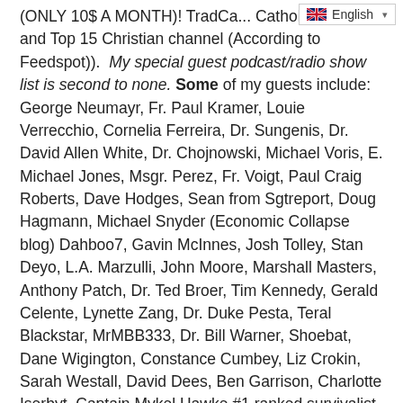(ONLY 10$ A MONTH)! TradCa... Catholic channel and Top 15 Christian channel (According to Feedspot)). My special guest podcast/radio show list is second to none. Some of my guests include: George Neumayr, Fr. Paul Kramer, Louie Verrecchio, Cornelia Ferreira, Dr. Sungenis, Dr. David Allen White, Dr. Chojnowski, Michael Voris, E. Michael Jones, Msgr. Perez, Fr. Voigt, Paul Craig Roberts, Dave Hodges, Sean from Sgtreport, Doug Hagmann, Michael Snyder (Economic Collapse blog) Dahboo7, Gavin McInnes, Josh Tolley, Stan Deyo, L.A. Marzulli, John Moore, Marshall Masters, Anthony Patch, Dr. Ted Broer, Tim Kennedy, Gerald Celente, Lynette Zang, Dr. Duke Pesta, Teral Blackstar, MrMBB333, Dr. Bill Warner, Shoebat, Dane Wigington, Constance Cumbey, Liz Crokin, Sarah Westall, David Dees, Ben Garrison, Charlotte Iserbyt, Captain Mykel Hawke #1 ranked survivalist, all top